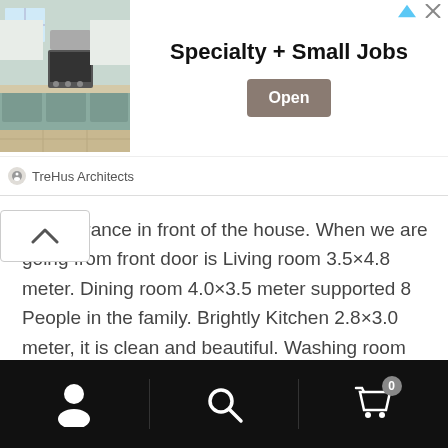[Figure (screenshot): Advertisement banner showing a kitchen photo with text 'Specialty + Small Jobs' and an 'Open' button, attributed to TreHus Architects]
ace entrance in front of the house. When we are going from front door is Living room 3.5×4.8 meter. Dining room 4.0×3.5 meter supported 8 People in the family. Brightly Kitchen 2.8×3.0 meter, it is clean and beautiful. Washing room 1.8×1.8 meter. A multi Bathroom size 1.2×3.0 meters. The storage is under the stair. Bedroom 4 size 3.9×3.5 meter.
Navigation bar with user, search, and cart icons